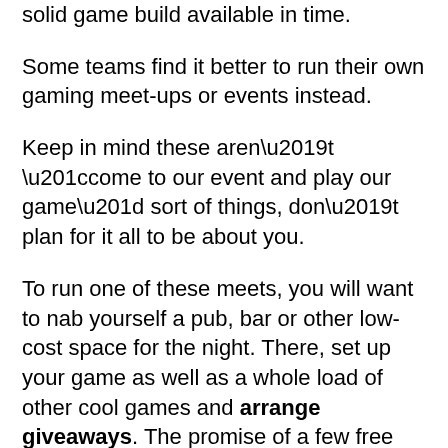solid game build available in time.
Some teams find it better to run their own gaming meet-ups or events instead.
Keep in mind these aren’t “come to our event and play our game” sort of things, don’t plan for it all to be about you.
To run one of these meets, you will want to nab yourself a pub, bar or other low-cost space for the night. There, set up your game as well as a whole load of other cool games and arrange giveaways. The promise of a few free drinks to get the party started doesn’t hurt either.
You’re going to find people naturally begin to take an interest in you and future events. They will also